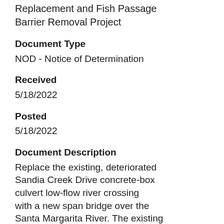Replacement and Fish Passage Barrier Removal Project
Document Type
NOD - Notice of Determination
Received
5/18/2022
Posted
5/18/2022
Document Description
Replace the existing, deteriorated Sandia Creek Drive concrete-box culvert low-flow river crossing with a new span bridge over the Santa Margarita River. The existing